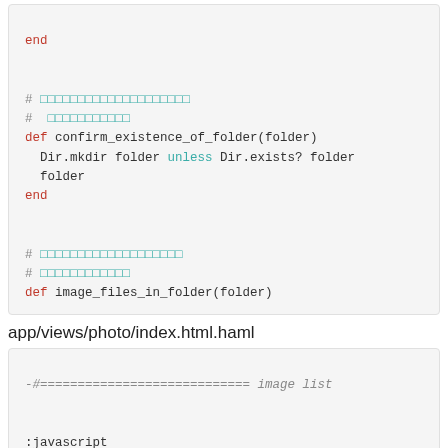[Figure (screenshot): Code block showing Ruby code with confirm_existence_of_folder method and partial image_files_in_folder definition, with Japanese comments highlighted in teal]
app/views/photo/index.html.haml
[Figure (screenshot): Code block showing HAML template with javascript section, JSON.dump @images, @photo_root variables and Photo constructor call]